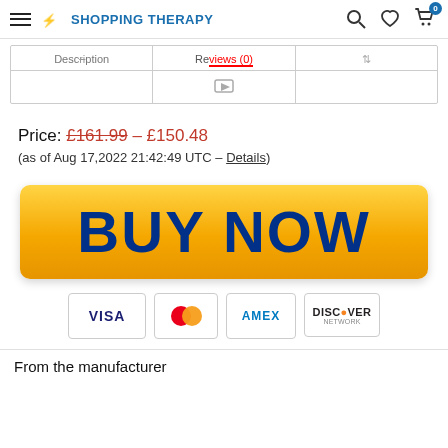Shopping Therapy — navigation header
[Figure (screenshot): Tab bar with Description, Reviews (0), and a third tab option with icons]
Price: £161.99 - £150.48
(as of Aug 17,2022 21:42:49 UTC – Details)
[Figure (other): Large golden BUY NOW button with gradient background]
[Figure (other): Payment method icons: VISA, MasterCard, AMEX, Discover Network]
From the manufacturer